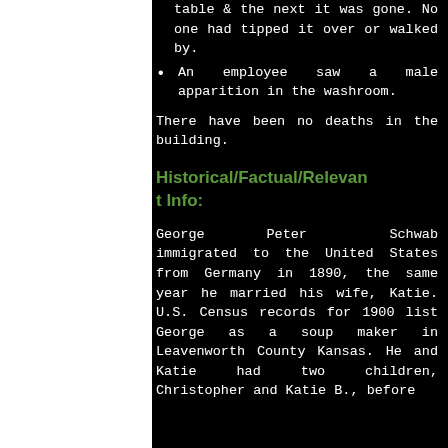table & the next it was gone. No one had tipped it over or walked by.
An employee saw a male apparition in the washroom.
There have been no deaths in the building.
Historical/Factual/Relevant Info:
George Peter Schwab immigrated to the United States from Germany in 1890, the same year he married his wife, Katie. U.S. Census records for 1900 list George as a soup maker in Leavenworth County Kansas. He and Katie had two children, Christopher and Katie B., before